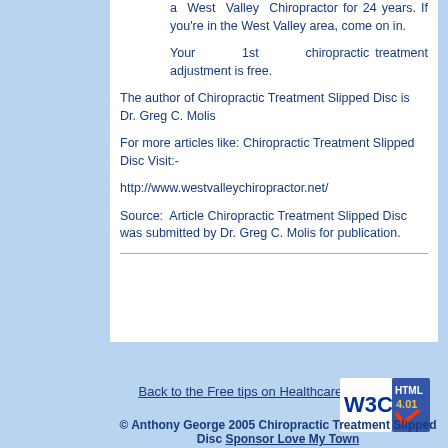a West Valley Chiropractor for 24 years. If you're in the West Valley area, come on in.
Your 1st chiropractic treatment adjustment is free.
The author of Chiropractic Treatment Slipped Disc is Dr. Greg C. Molis
For more articles like: Chiropractic Treatment Slipped Disc Visit:-
http://www.westvalleychiropractor.net/
Source: Article Chiropractic Treatment Slipped Disc was submitted by Dr. Greg C. Molis for publication.
Back to the Free tips on Healthcare Homepage
[Figure (logo): W3C HTML 4.01 validation badge]
© Anthony George 2005 Chiropractic Treatment Slipped Disc Sponsor Love My Town